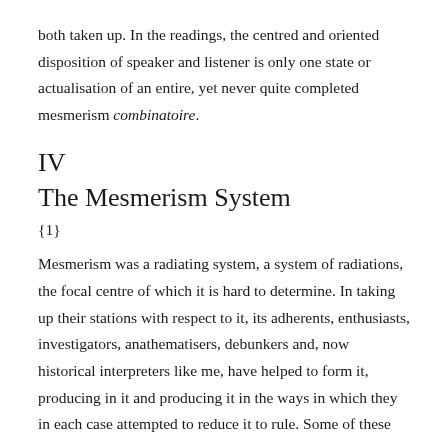both taken up. In the readings, the centred and oriented disposition of speaker and listener is only one state or actualisation of an entire, yet never quite completed mesmerism combinatoire.
IV
The Mesmerism System
[1]
Mesmerism was a radiating system, a system of radiations, the focal centre of which it is hard to determine. In taking up their stations with respect to it, its adherents, enthusiasts, investigators, anathematisers, debunkers and, now historical interpreters like me, have helped to form it, producing in it and producing it in the ways in which they in each case attempted to reduce it to rule. Some of these